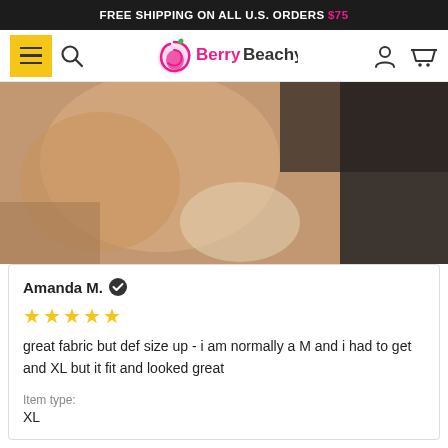FREE SHIPPING ON ALL U.S. ORDERS $75
[Figure (logo): Berry Beachy logo with pink peach/spiral icon and green leaf, text reads Berry Beachy]
[Figure (photo): Close-up product photo showing skin/fabric detail in warm tan and dark tones]
Amanda M. ✔
★★★★★
great fabric but def size up - i am normally a M and i had to get and XL but it fit and looked great
Item type:
XL